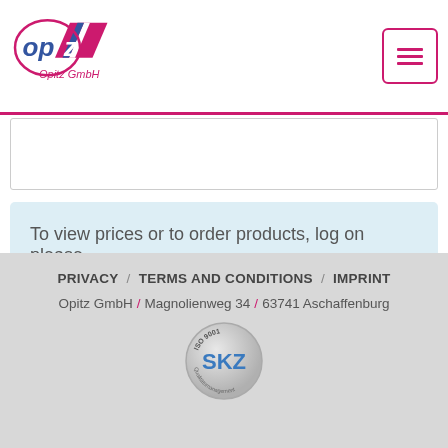Opitz GmbH logo and navigation menu
To view prices or to order products, log on please.
PRIVACY / TERMS AND CONDITIONS / IMPRINT
Opitz GmbH / Magnolienweg 34 / 63741 Aschaffenburg
[Figure (logo): SKZ ISO 9001 certification badge]